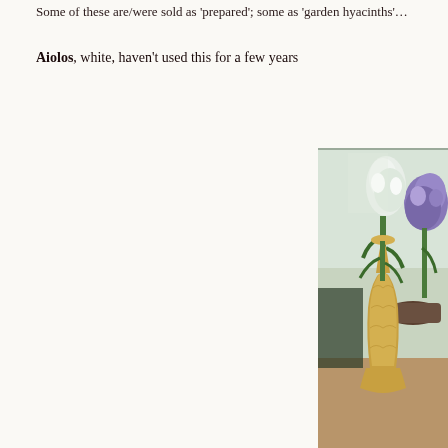Some of these are/were sold as 'prepared'; some as 'garden hyacinths'…
Aiolos, white, haven't used this for a few years
[Figure (photo): Photo of white and purple hyacinth flowers in vases and pots on a windowsill, with a tall amber glass hyacinth vase in the foreground holding a white hyacinth bloom.]